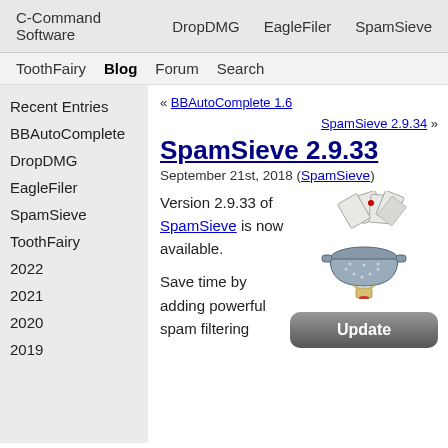C-Command Software  DropDMG  EagleFiler  SpamSieve
ToothFairy  Blog  Forum  Search
Recent Entries
BBAutoComplete
DropDMG
EagleFiler
SpamSieve
ToothFairy
2022
2021
2020
2019
« BBAutoComplete 1.6
SpamSieve 2.9.34 »
SpamSieve 2.9.33
September 21st, 2018 (SpamSieve)
Version 2.9.33 of SpamSieve is now available.
[Figure (illustration): SpamSieve app icon: a colander/sieve holding envelopes, with a wooden stand]
Save time by adding powerful spam filtering
Update